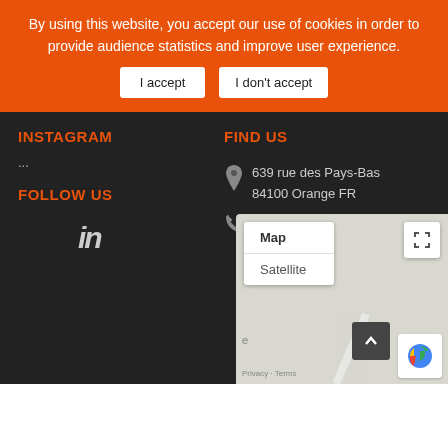By using this website, you accept our use of cookies in order to provide audience statistics and improve user experience.
I accept
I don't accept
INSTAGRAM
FIND US
...
639 rue des Pays-Bas 84100 Orange FR
0033 (0)4 90 11 64 64
FOLLOW US
[Figure (logo): LinkedIn 'in' logo icon]
[Figure (map): Google Maps widget showing Map and Satellite view options with fullscreen control and reCAPTCHA badge, Privacy and Terms links]